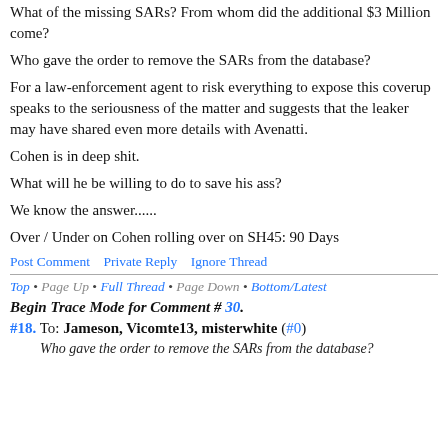What of the missing SARs? From whom did the additional $3 Million come?
Who gave the order to remove the SARs from the database?
For a law-enforcement agent to risk everything to expose this coverup speaks to the seriousness of the matter and suggests that the leaker may have shared even more details with Avenatti.
Cohen is in deep shit.
What will he be willing to do to save his ass?
We know the answer......
Over / Under on Cohen rolling over on SH45: 90 Days
Post Comment   Private Reply   Ignore Thread
Top • Page Up • Full Thread • Page Down • Bottom/Latest
Begin Trace Mode for Comment # 30.
#18. To: Jameson, Vicomte13, misterwhite (#0)
Who gave the order to remove the SARs from the database?